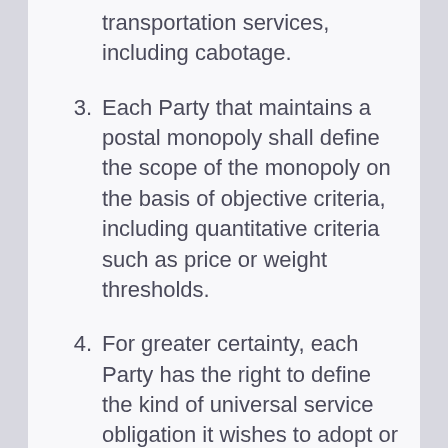transportation services, including cabotage.
3. Each Party that maintains a postal monopoly shall define the scope of the monopoly on the basis of objective criteria, including quantitative criteria such as price or weight thresholds.
4. For greater certainty, each Party has the right to define the kind of universal service obligation it wishes to adopt or maintain. Each Party that maintains a universal service obligation shall administer it in a transparent, non-discriminatory, and impartial manner with regard to all